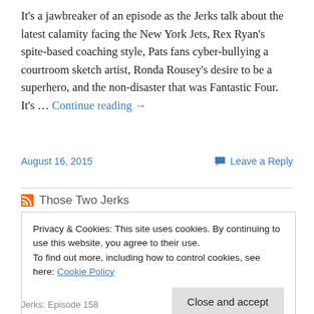It's a jawbreaker of an episode as the Jerks talk about the latest calamity facing the New York Jets, Rex Ryan's spite-based coaching style, Pats fans cyber-bullying a courtroom sketch artist, Ronda Rousey's desire to be a superhero, and the non-disaster that was Fantastic Four. It's … Continue reading →
August 16, 2015
Leave a Reply
Those Two Jerks
Privacy & Cookies: This site uses cookies. By continuing to use this website, you agree to their use.
To find out more, including how to control cookies, see here: Cookie Policy
Close and accept
Jerks: Episode 158